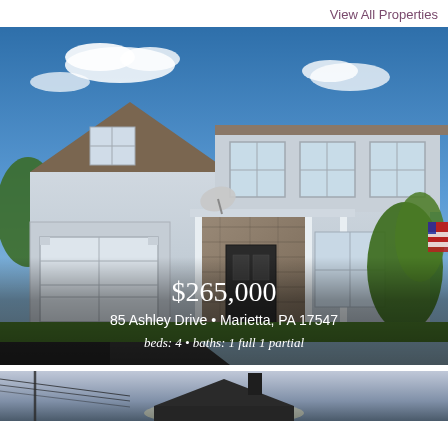View All Properties
[Figure (photo): Exterior photo of a two-story colonial home with gray siding, stone accent, attached garage, covered front porch, and American flag. Blue sky and trees in background.]
$265,000
85 Ashley Drive • Marietta, PA 17547
beds: 4 • baths: 1 full 1 partial
[Figure (photo): Partial exterior photo of a second house at dusk or overcast sky, showing roofline and chimney.]